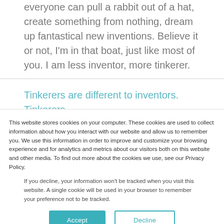everyone can pull a rabbit out of a hat, create something from nothing, dream up fantastical new inventions. Believe it or not, I'm in that boat, just like most of you. I am less inventor, more tinkerer.
Tinkerers are different to inventors. Tinkerers
This website stores cookies on your computer. These cookies are used to collect information about how you interact with our website and allow us to remember you. We use this information in order to improve and customize your browsing experience and for analytics and metrics about our visitors both on this website and other media. To find out more about the cookies we use, see our Privacy Policy.
If you decline, your information won't be tracked when you visit this website. A single cookie will be used in your browser to remember your preference not to be tracked.